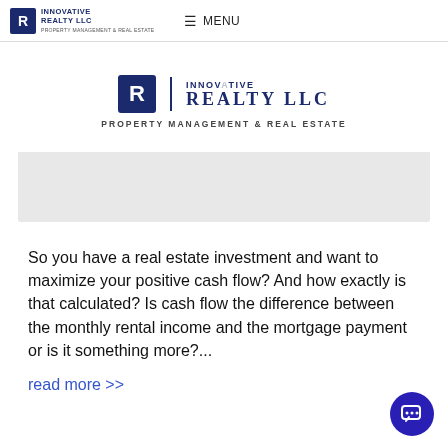≡ MENU | INNOVATIVE REALTY LLC PROPERTY MANAGEMENT & REAL ESTATE
[Figure (logo): Innovative Realty LLC logo with house/building icon and text reading INNOVATIVE REALTY LLC PROPERTY MANAGEMENT & REAL ESTATE in dark blue on white background]
So you have a real estate investment and want to maximize your positive cash flow? And how exactly is that calculated? Is cash flow the difference between the monthly rental income and the mortgage payment or is it something more?...
read more >>